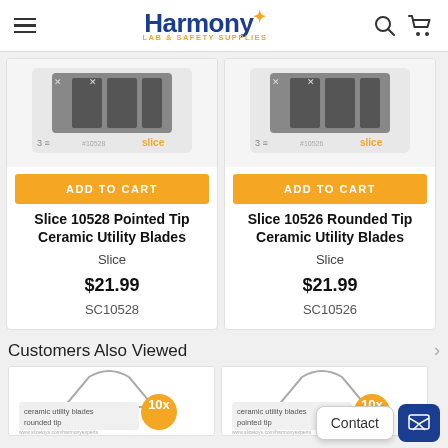Harmony Lab & Safety Supplies
[Figure (photo): Product image of Slice 10528 Pointed Tip Ceramic Utility Blades packaging]
ADD TO CART
Slice 10528 Pointed Tip Ceramic Utility Blades
Slice
$21.99
SC10528
[Figure (photo): Product image of Slice 10526 Rounded Tip Ceramic Utility Blades packaging]
ADD TO CART
Slice 10526 Rounded Tip Ceramic Utility Blades
Slice
$21.99
SC10526
Customers Also Viewed
[Figure (photo): Small product image - ceramic utility blades rounded tip]
[Figure (photo): Small product image - ceramic utility blades pointed tip]